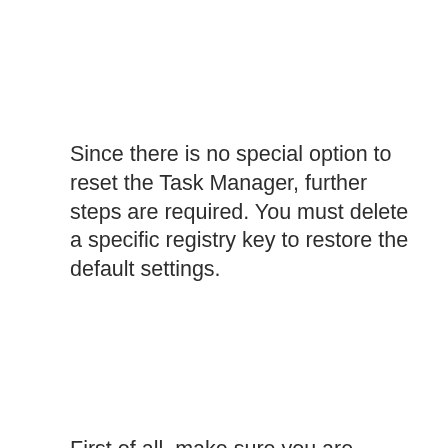Since there is no special option to reset the Task Manager, further steps are required. You must delete a specific registry key to restore the default settings.
First of all, make sure you are logged in with an administrator account, otherwise you cannot make any changes to the Windows registry. Then launch the registry editor by clicking on the Start menu or by pressing Windows + R, then typing regedit
[Figure (screenshot): Partially visible advertisement overlay showing a transparent Task Manager promotion with an X close button, green icon, and text 'TRANSPARENT TASK MANAGER']